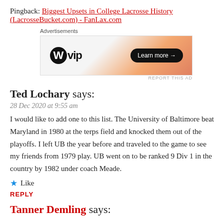Pingback: Biggest Upsets in College Lacrosse History (LacrosseBucket.com) - FanLax.com
[Figure (other): WordPress VIP advertisement banner with gradient orange/pink background, WordPress logo, 'vip' text, and a 'Learn more' button]
Ted Lochary says:
28 Dec 2020 at 9:55 am
I would like to add one to this list. The University of Baltimore beat Maryland in 1980 at the terps field and knocked them out of the playoffs. I left UB the year before and traveled to the game to see my friends from 1979 play. UB went on to be ranked 9 Div 1 in the country by 1982 under coach Meade.
★ Like
REPLY
Tanner Demling says: